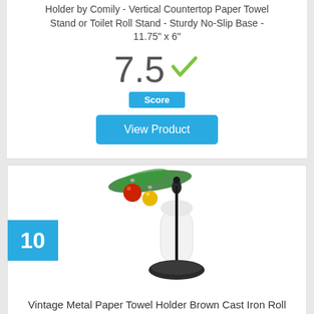Holder by Comily - Vertical Countertop Paper Towel Stand or Toilet Roll Stand - Sturdy No-Slip Base - 11.75" x 6"
7.5
Score
View Product
10
[Figure (photo): Vintage metal paper towel holder on a cast iron stand with Christmas ornaments decoration at top]
Vintage Metal Paper Towel Holder Brown Cast Iron Roll Paper Towel Stand for Kitchen Bathroom Home Decor